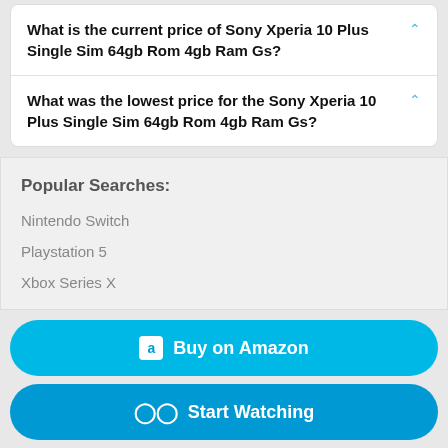What is the current price of Sony Xperia 10 Plus Single Sim 64gb Rom 4gb Ram Gs?
What was the lowest price for the Sony Xperia 10 Plus Single Sim 64gb Rom 4gb Ram Gs?
Popular Searches:
Nintendo Switch
Playstation 5
Xbox Series X
Buy on Amazon
Start Watching